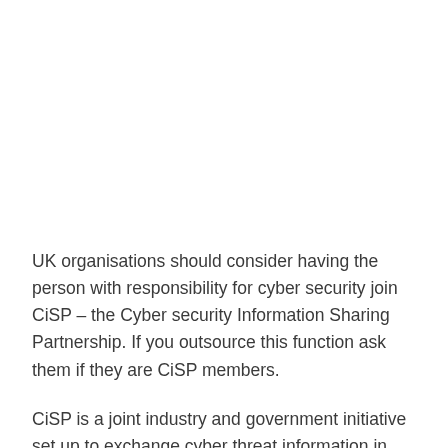UK organisations should consider having the person with responsibility for cyber security join CiSP – the Cyber security Information Sharing Partnership. If you outsource this function ask them if they are CiSP members.
CiSP is a joint industry and government initiative set up to exchange cyber threat information in real time, in a secure, confidential and dynamic environment, increasing